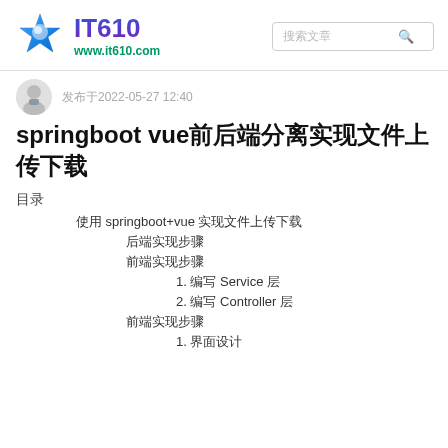IT610 www.it610.com
发布于2022-05-27 12:40
springboot vue前后端分离实现文件上传下载
目录
使用 springboot+vue 实现文件上传下载
后端实现步骤
前端实现步骤
1. 编写 Service 层
2. 编写 Controller 层
前端实现步骤
1. 界面设计